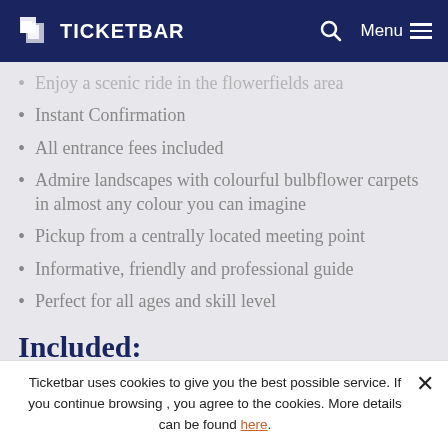TICKETBAR | Menu
Enjoy a scenic ride in the flowerfields area
Instant Confirmation
All entrance fees included
Admire landscapes with colourful bulbflower carpets in almost any colour you can imagine
Pickup from a centrally located meeting point
Informative, friendly and professional guide
Perfect for all ages and skill level
Included:
All taxes, fees and handling charges
Transportation (partially shown)
Ticketbar uses cookies to give you the best possible service. If you continue browsing , you agree to the cookies. More details can be found here.